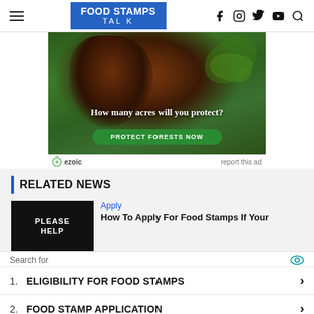FOOD STAMPS TALK
[Figure (photo): Wildlife photo of a monkey in trees with text overlay: 'How many acres will you protect?' and green button 'PROTECT FORESTS NOW'. Ezoic ad label below.]
RELATED NEWS
[Figure (photo): Dark thumbnail image with text 'PLEASE HELP']
Apply
How To Apply For Food Stamps If Your
Search for
1. ELIGIBILITY FOR FOOD STAMPS
2. FOOD STAMP APPLICATION
Ad | Business Focus